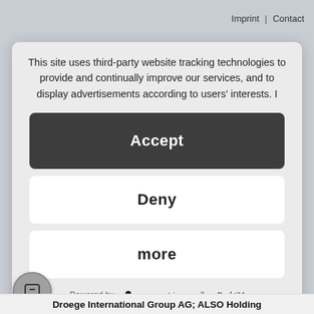Imprint | Contact
This site uses third-party website tracking technologies to provide and continually improve our services, and to display advertisements according to users' interests. I
Accept
Deny
more
Powered by usercentrics & eRecht24
Droege International Group AG; ALSO Holding